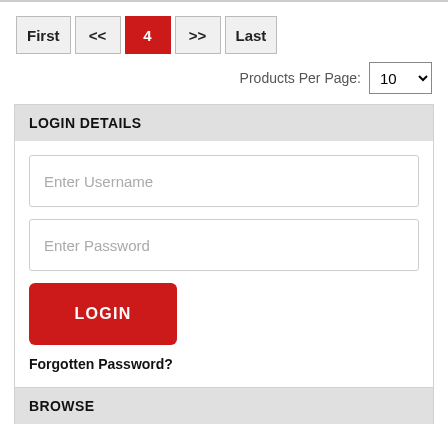[Figure (screenshot): Pagination bar with buttons: First, <<, 4 (active, red), >>, Last]
Products Per Page: 10
LOGIN DETAILS
Enter Username
Enter Password
LOGIN
Forgotten Password?
BROWSE